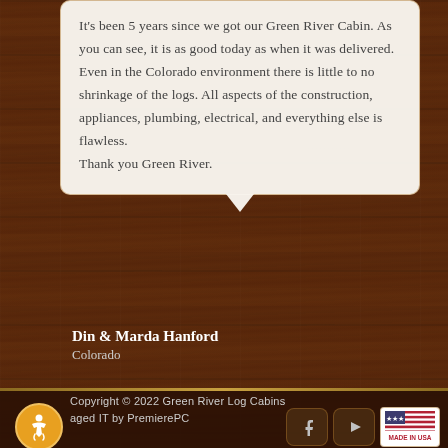It's been 5 years since we got our Green River Cabin. As you can see, it is as good today as when it was delivered. Even in the Colorado environment there is little to no shrinkage of the logs. All aspects of the construction, appliances, plumbing, electrical, and everything else is flawless. Thank you Green River.
Din & Marda Hanford
Colorado
Copyright © 2022 Green River Log Cabins
Managed IT by PremierePC